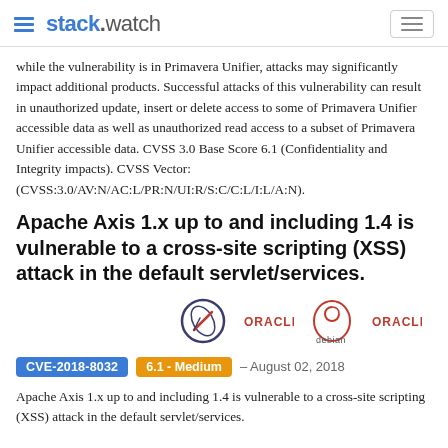stack.watch
while the vulnerability is in Primavera Unifier, attacks may significantly impact additional products. Successful attacks of this vulnerability can result in unauthorized update, insert or delete access to some of Primavera Unifier accessible data as well as unauthorized read access to a subset of Primavera Unifier accessible data. CVSS 3.0 Base Score 6.1 (Confidentiality and Integrity impacts). CVSS Vector: (CVSS:3.0/AV:N/AC:L/PR:N/UI:R/S:C/C:L/I:L/A:N).
Apache Axis 1.x up to and including 1.4 is vulnerable to a cross-site scripting (XSS) attack in the default servlet/services.
[Figure (logo): Row of vendor logos: Apache (feather), Oracle, Debian, Oracle]
CVE-2018-8032  6.1 - Medium  – August 02, 2018
Apache Axis 1.x up to and including 1.4 is vulnerable to a cross-site scripting (XSS) attack in the default servlet/services.